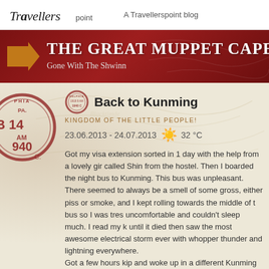Travellerspoint — A Travellerspoint blog
THE GREAT MUPPET CAPER
Gone With The Shwinn
Back to Kunming
KINGDOM OF THE LITTLE PEOPLE!
23.06.2013 - 24.07.2013  32 °C
Got my visa extension sorted in 1 day with the help from a lovely girl called Shin from the hostel. Then I boarded the night bus to Kunming. This bus was unpleasant. There seemed to always be a smell of something gross, either piss or smoke, and I kept rolling towards the middle of the bus so I was tres uncomfortable and couldn't sleep much. I read my kindle until it died then saw the most awesome electrical storm ever with whopper thunder and lightning everywhere.
Got a few hours kip and woke up in a different Kunming bus station